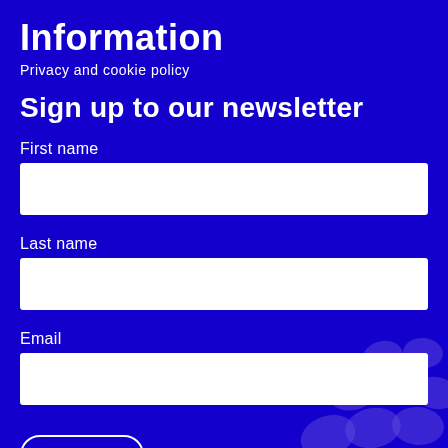Information
Privacy and cookie policy
Sign up to our newsletter
First name
Last name
Email
Sign up